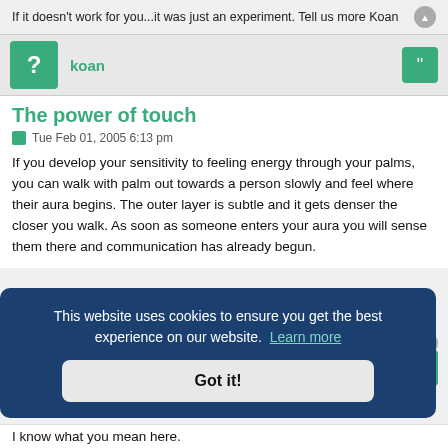If it doesn't work for you...it was just an experiment. Tell us more Koan
koan
The power of touch
Tue Feb 01, 2005 6:13 pm
If you develop your sensitivity to feeling energy through your palms, you can walk with palm out towards a person slowly and feel where their aura begins. The outer layer is subtle and it gets denser the closer you walk. As soon as someone enters your aura you will sense them there and communication has already begun.
This website uses cookies to ensure you get the best experience on our website. Learn more
Got it!
I know what you mean here.